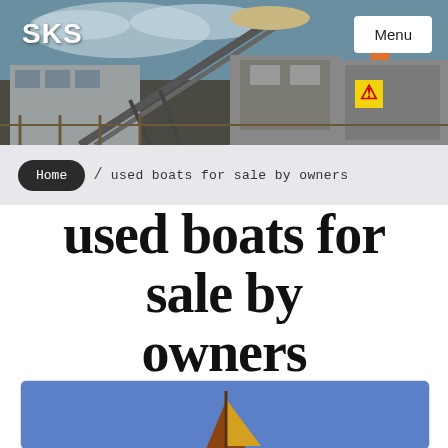[Figure (photo): Industrial machinery/quarry equipment with conveyor belts and workers at a construction or mining site, blue sky visible]
SKS
Menu
Home / used boats for sale by owners
used boats for sale by owners
[Figure (illustration): Partial illustration of a sailboat with a yellow and brown sail against a blue background]